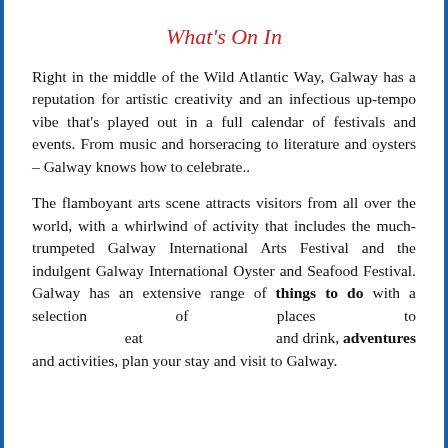What's On In
Right in the middle of the Wild Atlantic Way, Galway has a reputation for artistic creativity and an infectious up-tempo vibe that’s played out in a full calendar of festivals and events. From music and horseracing to literature and oysters – Galway knows how to celebrate..
The flamboyant arts scene attracts visitors from all over the world, with a whirlwind of activity that includes the much-trumpeted Galway International Arts Festival and the indulgent Galway International Oyster and Seafood Festival. Galway has an extensive range of things to do with a selection of places to eat and drink, adventures and activities, plan your stay and visit to Galway.